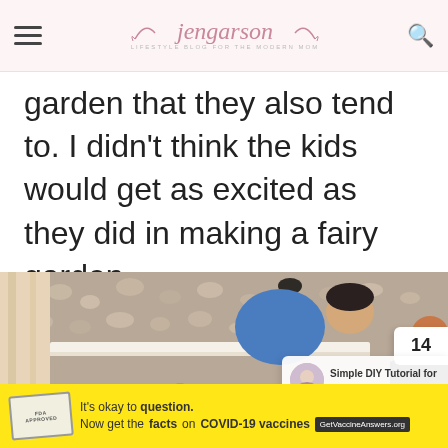jengarson — LIFESTYLE BLOG FOR THE MODERN MOM
garden that they also tend to. I didn't think the kids would get as excited as they did in making a fairy garden.
[Figure (photo): Two children leaning over a wooden planter box with blue glass pebbles and rocks, with a pebble garden in the background. A sidebar shows share count 14 and a popup thumbnail with text 'Simple DIY Tutorial for a...']
It's okay to question. Now get the facts on COVID-19 vaccines GetVaccineAnswers.org